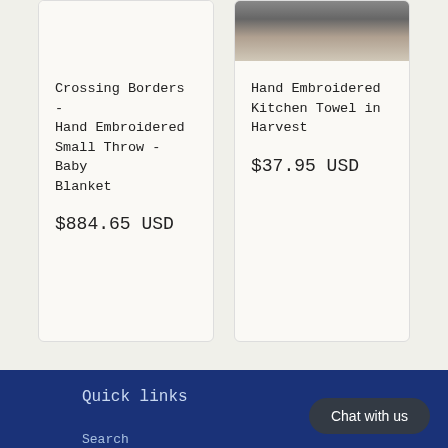Crossing Borders - Hand Embroidered Small Throw - Baby Blanket
$884.65 USD
Hand Embroidered Kitchen Towel in Harvest
$37.95 USD
Quick links
Search
Patterns and Tutorials
Handkerchiefs
Chat with us